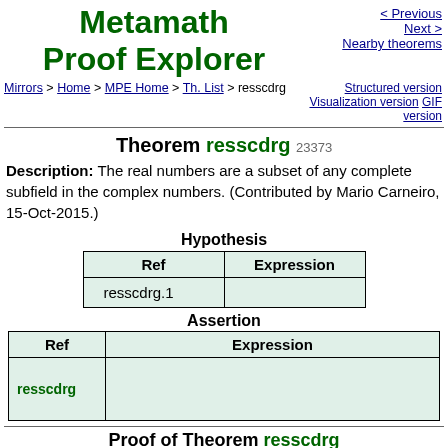Metamath Proof Explorer
< Previous   Next >   Nearby theorems
Mirrors > Home > MPE Home > Th. List > resscdrg   Structured version   Visualization version   GIF version
Theorem resscdrg 23373
Description: The real numbers are a subset of any complete subfield in the complex numbers. (Contributed by Mario Carneiro, 15-Oct-2015.)
Hypothesis
| Ref | Expression |
| --- | --- |
| resscdrg.1 |  |
Assertion
| Ref | Expression |
| --- | --- |
| resscdrg |  |
Proof of Theorem resscdrg
| Step | Hyp | Ref | Expression |
| --- | --- | --- | --- |
|  |  |  |  |